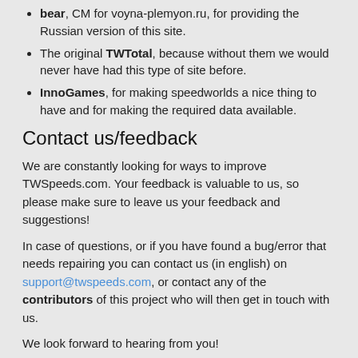bear, CM for voyna-plemyon.ru, for providing the Russian version of this site.
The original TWTotal, because without them we would never have had this type of site before.
InnoGames, for making speedworlds a nice thing to have and for making the required data available.
Contact us/feedback
We are constantly looking for ways to improve TWSpeeds.com. Your feedback is valuable to us, so please make sure to leave us your feedback and suggestions!
In case of questions, or if you have found a bug/error that needs repairing you can contact us (in english) on support@twspeeds.com, or contact any of the contributors of this project who will then get in touch with us.
We look forward to hearing from you!
We hope you will enjoy TWSpeeds.com!
The TWSpeeds Developers
Joris & Joren